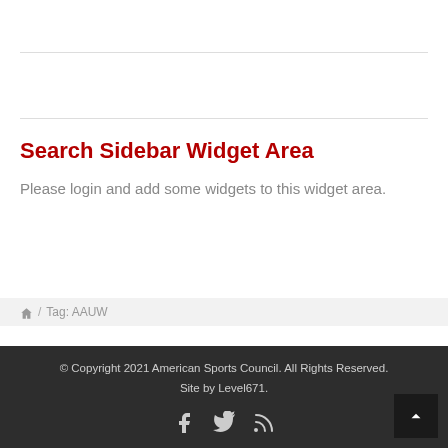Search Sidebar Widget Area
Please login and add some widgets to this widget area.
🏠 / Tag: AAUW
© Copyright 2021 American Sports Council. All Rights Reserved. Site by Level671.